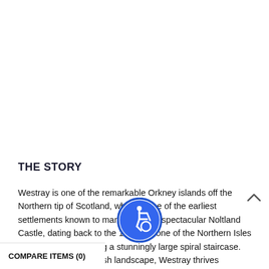THE STORY
Westray is one of the remarkable Orkney islands off the Northern tip of Scotland, where some of the earliest settlements known to man exist. The spectacular Noltland Castle, dating back to the 1560s, is one of the Northern Isles finest castles, featuring a stunningly large spiral staircase. Thanks to its fertile, lush landscape, Westray thrives on and is notable for its exceptional birdlife
COMPARE ITEMS (0)
[Figure (illustration): Blue circular accessibility icon with wheelchair user symbol]